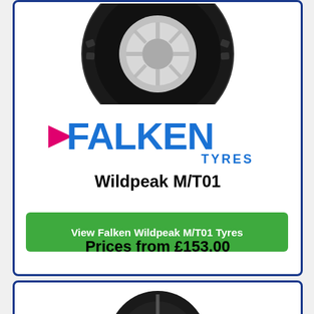[Figure (photo): Falken Wildpeak M/T01 off-road tyre, black with aggressive tread pattern, mounted on a silver wheel, top portion visible]
[Figure (logo): Falken Tyres logo — FALKEN in large bold blue letters with a pink/magenta arrow on the left, TYRES in smaller blue text below right]
Wildpeak M/T01
View Falken Wildpeak M/T01 Tyres
Prices from £153.00
[Figure (photo): Second tyre product card beginning — a low-profile tyre on a dark alloy wheel, only top portion visible]